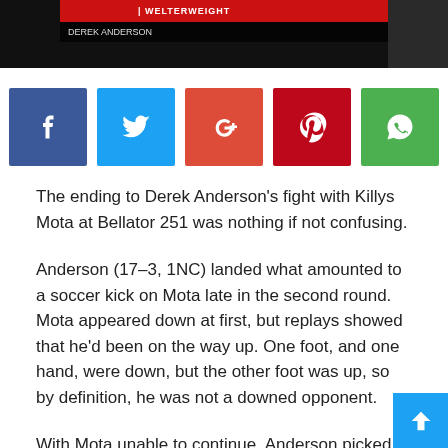[Figure (screenshot): Top header bar showing a dark/red banner with WELTERWEIGHT text and a fighter image on the right, plus a fighter name caption below.]
[Figure (infographic): Row of five social sharing icons: Facebook (blue), Twitter (light blue), Google+ (red-orange), Pinterest (dark red), WhatsApp (green).]
The ending to Derek Anderson's fight with Killys Mota at Bellator 251 was nothing if not confusing.
Anderson (17–3, 1NC) landed what amounted to a soccer kick on Mota late in the second round. Mota appeared down at first, but replays showed that he'd been on the way up. One foot, and one hand, were down, but the other foot was up, so by definition, he was not a downed opponent.
With Mota unable to continue, Anderson picked up the KO victory. And after the fight, he made it clear that he had not planned to throw an illegal strike.